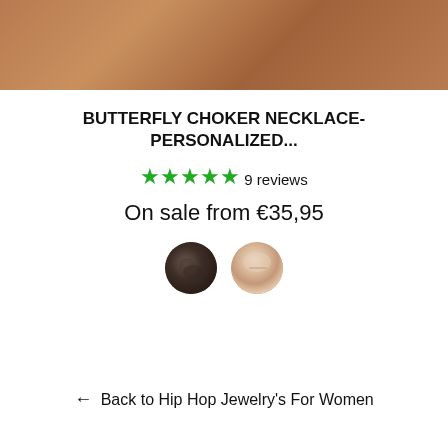[Figure (photo): Close-up photo of brown/tan textured leather or skin surface, cropped at top of page]
BUTTERFLY CHOKER NECKLACE- PERSONALIZED...
★★★★★ 9 reviews
On sale from €35,95
[Figure (photo): Two circular thumbnail images of the necklace: left shows dark background view, right shows light/skin-tone background view]
← Back to Hip Hop Jewelry's For Women